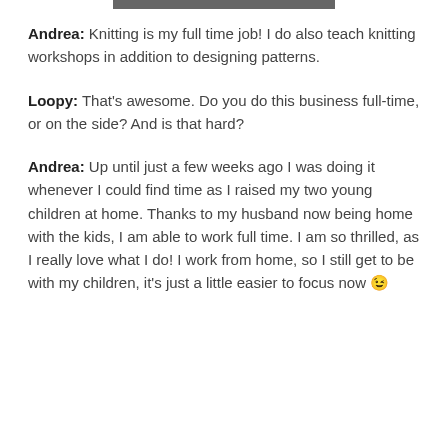[Figure (photo): Partial image strip at top of page, cropped photo]
Andrea: Knitting is my full time job! I do also teach knitting workshops in addition to designing patterns.
Loopy: That's awesome. Do you do this business full-time, or on the side? And is that hard?
Andrea: Up until just a few weeks ago I was doing it whenever I could find time as I raised my two young children at home. Thanks to my husband now being home with the kids, I am able to work full time. I am so thrilled, as I really love what I do! I work from home, so I still get to be with my children, it's just a little easier to focus now 😉